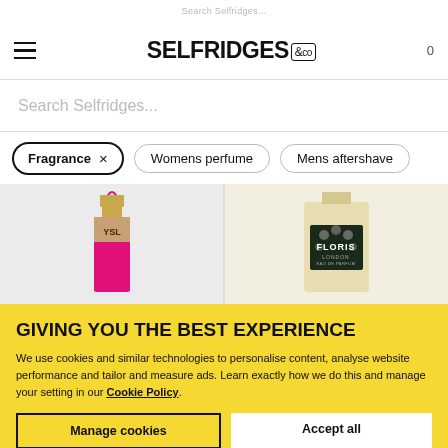Search Selfridges...
[Figure (logo): Selfridges & Co logo in navigation bar with hamburger menu and cart icon]
Search Selfridges...
Fragrance × Womens perfume Mens aftershave
[Figure (photo): Two fragrance product images: left shows YSL (Yves Saint Laurent) pink perfume bottle, right shows Floris London Eau de Parfum bottle]
GIVING YOU THE BEST EXPERIENCE
We use cookies and similar technologies to personalise content, analyse website performance and tailor and measure ads. Learn exactly how we do this and manage your setting in our Cookie Policy.
Manage cookies
Accept all